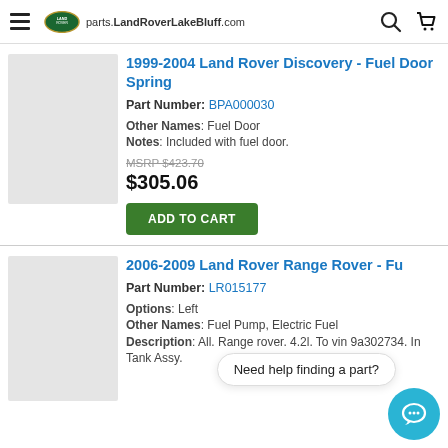parts.LandRoverLakeBluff.com
1999-2004 Land Rover Discovery - Fuel Door Spring
Part Number: BPA000030
Other Names: Fuel Door
Notes: Included with fuel door.
MSRP $423.70
$305.06
ADD TO CART
2006-2009 Land Rover Range Rover - Fu
Part Number: LR015177
Options: Left
Other Names: Fuel Pump, Electric Fuel
Description: All. Range rover. 4.2l. To vin 9a302734. In Tank Assy.
Need help finding a part?